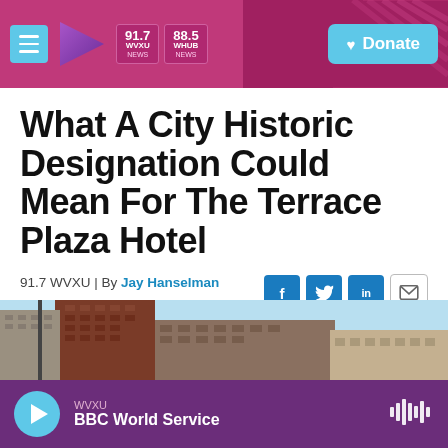91.7 WVXU | 88.5 WHUB NEWS | Donate
What A City Historic Designation Could Mean For The Terrace Plaza Hotel
91.7 WVXU | By Jay Hanselman
Published January 15, 2019 at 1:44 PM EST
[Figure (photo): Exterior photo of urban buildings including the Terrace Plaza Hotel, viewed from street level against a blue sky]
WVXU BBC World Service